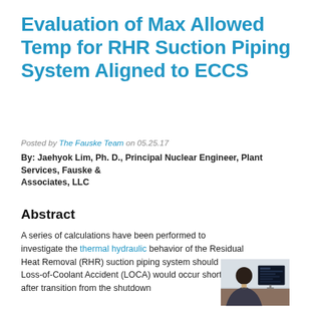Evaluation of Max Allowed Temp for RHR Suction Piping System Aligned to ECCS
Posted by The Fauske Team on 05.25.17
By: Jaehyok Lim, Ph. D., Principal Nuclear Engineer, Plant Services, Fauske & Associates, LLC
Abstract
A series of calculations have been performed to investigate the thermal hydraulic behavior of the Residual Heat Removal (RHR) suction piping system should a Loss-of-Coolant Accident (LOCA) would occur shortly after transition from the shutdown
[Figure (photo): A person viewed from behind sitting at a computer workstation with a monitor displaying technical content]